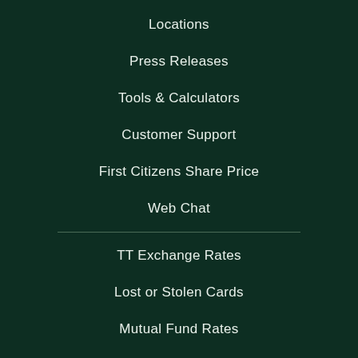Locations
Press Releases
Tools & Calculators
Customer Support
First Citizens Share Price
Web Chat
TT Exchange Rates
Lost or Stolen Cards
Mutual Fund Rates
Fees and Charges